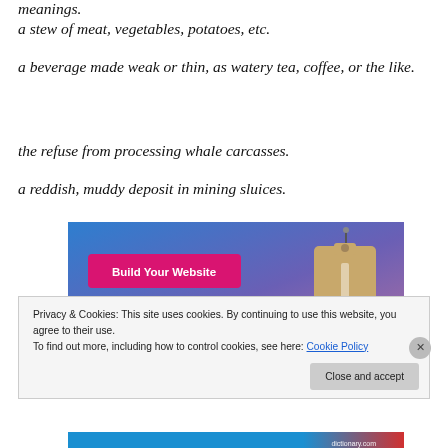meanings.
a stew of meat, vegetables, potatoes, etc.
a beverage made weak or thin, as watery tea, coffee, or the like.
the refuse from processing whale carcasses.
a reddish, muddy deposit in mining sluices.
[Figure (illustration): Advertisement banner with blue-to-purple gradient background, a pink 'Build Your Website' button on the left, and a tan/beige luggage tag illustration on the right.]
Privacy & Cookies: This site uses cookies. By continuing to use this website, you agree to their use.
To find out more, including how to control cookies, see here: Cookie Policy
Close and accept